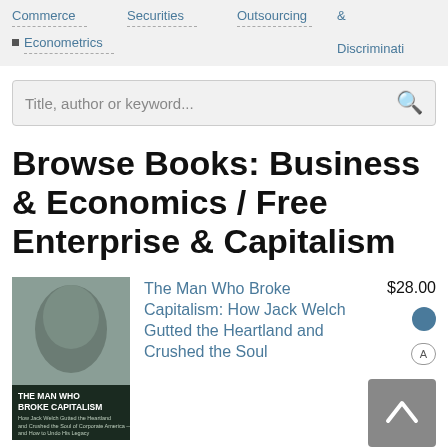Commerce
Securities
Outsourcing & Discrimination
Econometrics
Title, author or keyword...
Browse Books: Business & Economics / Free Enterprise & Capitalism
The Man Who Broke Capitalism: How Jack Welch Gutted the Heartland and Crushed the Soul
$28.00